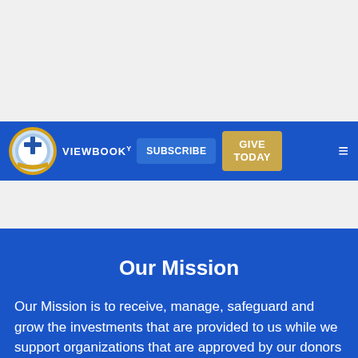[Figure (screenshot): Website navigation bar with a cross/church logo, VIEWBOOK, SUBSCRIBE, GIVE TODAY buttons, and a hamburger menu icon on a blue background]
Our Mission
Our Mission is to receive, manage, safeguard and grow the investments that are provided to us while we support organizations that are approved by our donors and are